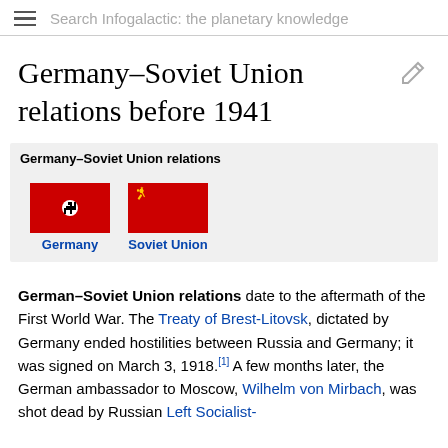Search Infogalactic: the planetary knowledge
Germany–Soviet Union relations before 1941
[Figure (infographic): Infobox showing Germany–Soviet Union relations with Nazi Germany flag (red with swastika) and Soviet Union flag (red with hammer and sickle symbol). Labels beneath each flag read 'Germany' and 'Soviet Union' respectively.]
German–Soviet Union relations date to the aftermath of the First World War. The Treaty of Brest-Litovsk, dictated by Germany ended hostilities between Russia and Germany; it was signed on March 3, 1918.[1] A few months later, the German ambassador to Moscow, Wilhelm von Mirbach, was shot dead by Russian Left Socialist-